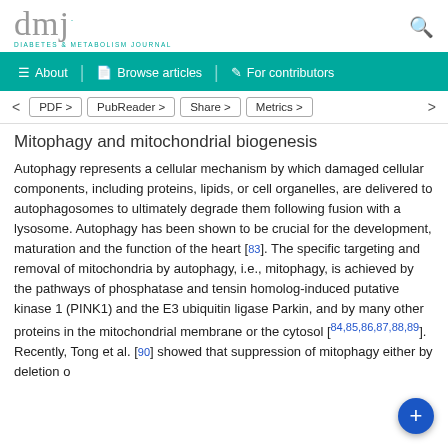dmj DIABETES & METABOLISM JOURNAL
Mitophagy and mitochondrial biogenesis
Autophagy represents a cellular mechanism by which damaged cellular components, including proteins, lipids, or cell organelles, are delivered to autophagosomes to ultimately degrade them following fusion with a lysosome. Autophagy has been shown to be crucial for the development, maturation and the function of the heart [83]. The specific targeting and removal of mitochondria by autophagy, i.e., mitophagy, is achieved by the pathways of phosphatase and tensin homolog-induced putative kinase 1 (PINK1) and the E3 ubiquitin ligase Parkin, and by many other proteins in the mitochondrial membrane or the cytosol [84,85,86,87,88,89]. Recently, Tong et al. [90] showed that suppression of mitophagy either by deletion of